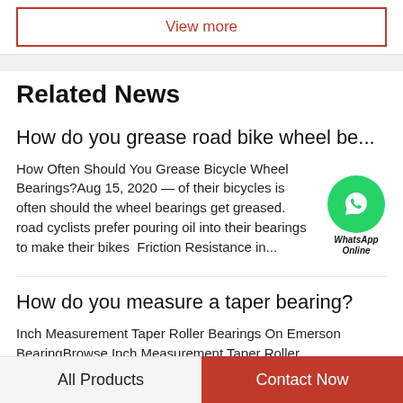View more
Related News
How do you grease road bike wheel be...
How Often Should You Grease Bicycle Wheel Bearings?Aug 15, 2020 — of their bicycles is often should the wheel bearings get greased. road cyclists prefer pouring oil into their bearings to make their bikes  Friction Resistance in...
How do you measure a taper bearing?
Inch Measurement Taper Roller Bearings On Emerson BearingBrowse Inch Measurement Taper Roller
All Products    Contact Now